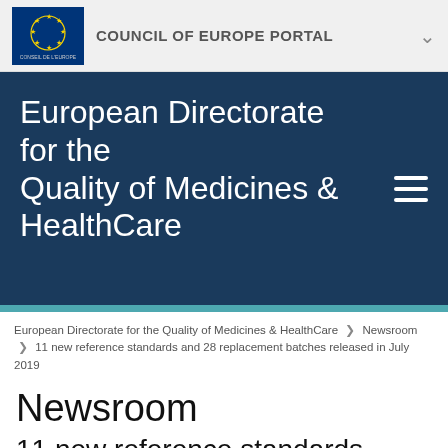COUNCIL OF EUROPE PORTAL
European Directorate for the Quality of Medicines & HealthCare
European Directorate for the Quality of Medicines & HealthCare › Newsroom › 11 new reference standards and 28 replacement batches released in July 2019
Newsroom
11 new reference standards